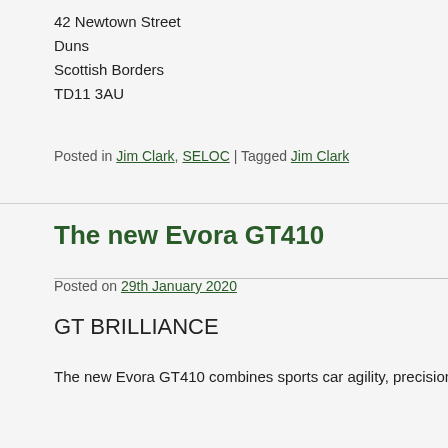42 Newtown Street
Duns
Scottish Borders
TD11 3AU
Posted in Jim Clark, SELOC | Tagged Jim Clark
The new Evora GT410
Posted on 29th January 2020
GT BRILLIANCE
The new Evora GT410 combines sports car agility, precision and res